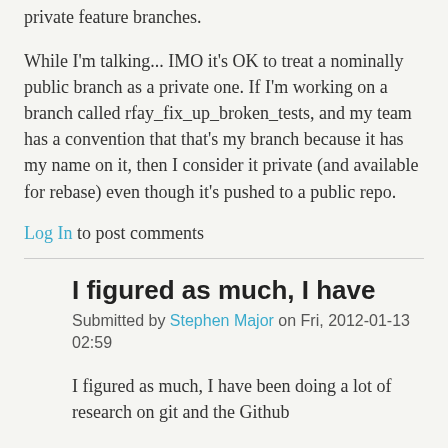private feature branches.
While I'm talking... IMO it's OK to treat a nominally public branch as a private one. If I'm working on a branch called rfay_fix_up_broken_tests, and my team has a convention that that's my branch because it has my name on it, then I consider it private (and available for rebase) even though it's pushed to a public repo.
Log In to post comments
I figured as much, I have
Submitted by Stephen Major on Fri, 2012-01-13 02:59
I figured as much, I have been doing a lot of research on git and the Github